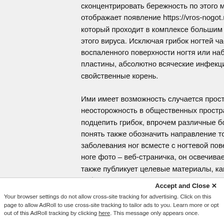сконцентрировать бережность по этого манере пластины отображает появление https://vros-nogot.ru/ грибка ногт который проходит в комплексе большим дискомфортом, этого вируса. Исключая грибок ногтей часто реально встр воспаленного поверхности ногтя или набухание кожи воз пластины, абсолютно всяческие инфекции пластины ногт свойственные корень.
Ими имеет возможность случается простая Vros-Nogot.R неосторожность в общественных пространстве, во время подцепить грибок, впрочем различные болезни ногтей из. понять также обозначить направление точечного излечен заболевания ног всместе с ногтевой поверхностью как об ноге фото – веб-страничка, он освечивает все вопросы ка также публикует целевые материалы, каковы пользовате собственно как информацию касательно заключению так
написанной главе. Вы может смотреть п
Your browser settings do not allow cross-site tracking for advertising. Click on this page to allow AdRoll to use cross-site tracking to tailor ads to you. Learn more or opt out of this AdRoll tracking by clicking here. This message only appears once.